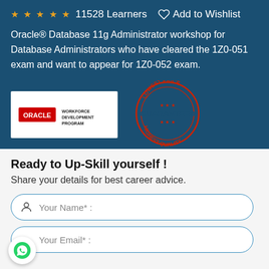★★★★★  11528 Learners   ♡ Add to Wishlist
Oracle® Database 11g Administrator workshop for Database Administrators who have cleared the 1Z0-051 exam and want to appear for 1Z0-052 exam.
[Figure (logo): Oracle Workforce Development Program logo on white background]
[Figure (logo): Lowest Price Guaranteed Highest Quality circular stamp badge in red and dark blue]
Ready to Up-Skill yourself !
Share your details for best career advice.
Your Name* :
Your Email* :